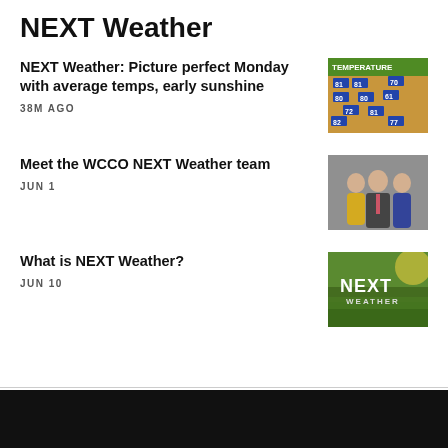NEXT Weather
NEXT Weather: Picture perfect Monday with average temps, early sunshine
38M AGO
[Figure (screenshot): Weather map showing temperature readings across a region with numbers like 81, 80, 72, 82, 78, 70, 75, 60, 61, 77 visible on the map]
Meet the WCCO NEXT Weather team
JUN 1
[Figure (photo): Three news anchors/weather team members posing together — a woman in yellow dress, a man in a suit with pink tie, and a woman in a blue dress]
What is NEXT Weather?
JUN 10
[Figure (logo): NEXT WEATHER logo over a grassy field background with sunlight]